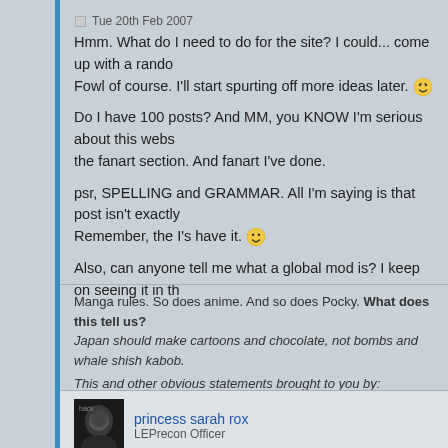Tue 20th Feb 2007
Hmm. What do I need to do for the site? I could... come up with a rando Fowl of course. I'll start spurting off more ideas later. [smiley]

Do I have 100 posts? And MM, you KNOW I'm serious about this webs the fanart section. And fanart I've done.

psr, SPELLING and GRAMMAR. All I'm saying is that post isn't exactly Remember, the I's have it. [smiley]

Also, can anyone tell me what a global mod is? I keep on seeing it in th
Manga rules. So does anime. And so does Pocky. What does this tell us? Japan should make cartoons and chocolate, not bombs and whale shish kabob.

This and other obvious statements brought to you by:
Nicole (who does not deserve the artist title because is too lazy to practise)
princess sarah rox
LEPrecon Officer